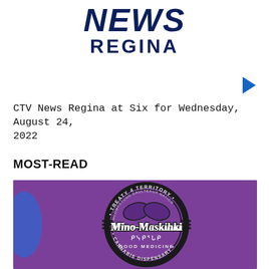NEWS REGINA
[Figure (other): Blue play button triangle icon]
CTV News Regina at Six for Wednesday, August 24, 2022
MOST-READ
[Figure (photo): Mino-Maskihki cannabis dispensary logo on purple background. Text reads: Treaty 4 Territory · Mcompetung Saulteaux Nation · Mino-Maskihki (in syllabics) · Good Medicine · Cannabis Dispensary]